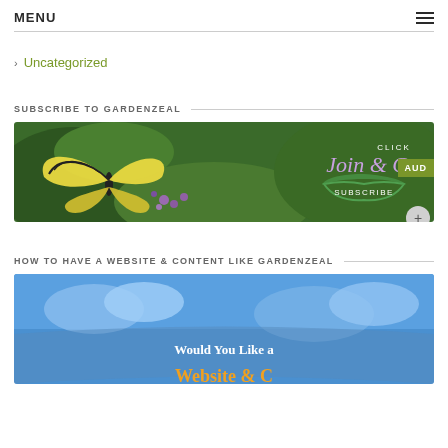MENU
Uncategorized
SUBSCRIBE TO GARDENZEAL
[Figure (photo): Banner image showing a yellow swallowtail butterfly on purple flowers with green foliage background. Text overlay reads 'CLICK Join & Grow SUBSCRIBE'. Green badge on right says AUD.]
HOW TO HAVE A WEBSITE & CONTENT LIKE GARDENZEAL
[Figure (photo): Blue sky background image with text 'Would You Like a' in white and partially visible yellow text below.]